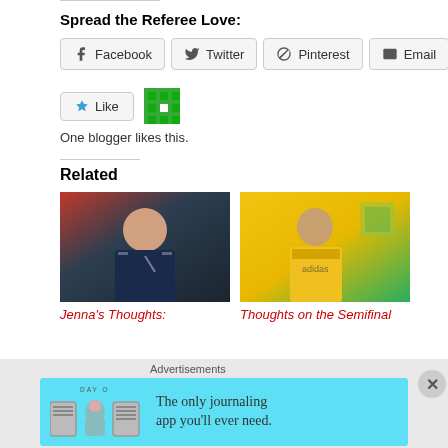Spread the Referee Love:
Facebook  Twitter  Pinterest  Email  Print
One blogger likes this.
Related
[Figure (photo): Person in dark jacket giving thumbs up - Jenna's Thoughts article thumbnail]
Jenna's Thoughts:
[Figure (photo): Referee in yellow jersey - Thoughts on the Semifinal article thumbnail]
Thoughts on the Semifinal
Advertisements
[Figure (infographic): Day One journaling app advertisement - The only journaling app you'll ever need.]